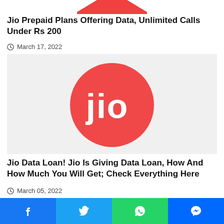[Figure (logo): Partial red octagon/stop-sign shaped Jio logo at top, cropped]
Jio Prepaid Plans Offering Data, Unlimited Calls Under Rs 200
March 17, 2022
[Figure (logo): Jio logo: red circle with white 'jio' text inside, on light background]
Jio Data Loan! Jio Is Giving Data Loan, How And How Much You Will Get; Check Everything Here
March 05, 2022
[Figure (photo): Partial image at bottom with blue background, red/white/blue stripes and orange element]
f  t  WhatsApp  Messenger